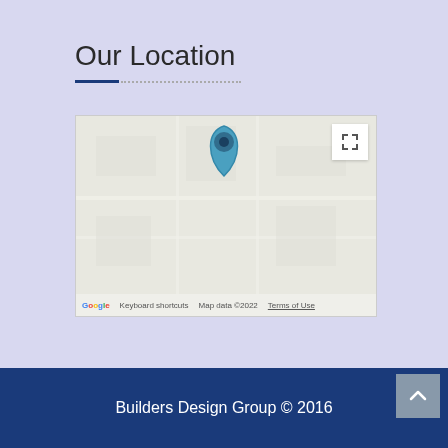Our Location
[Figure (map): Google Maps embedded map showing a location pin with a teal/blue map marker in the center. The map shows a light gray street map with no visible street labels at this zoom. Bottom bar shows Google logo, 'Keyboard shortcuts', 'Map data ©2022', and 'Terms of Use'. A fullscreen button is in the top-right corner.]
Builders Design Group © 2016